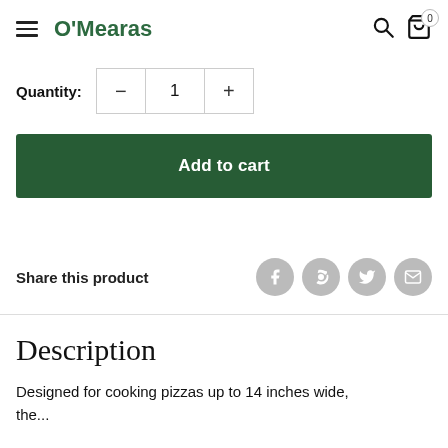O'Mearas
Quantity: 1
Add to cart
Share this product
Description
Designed for cooking pizzas up to 14 inches wide, the...